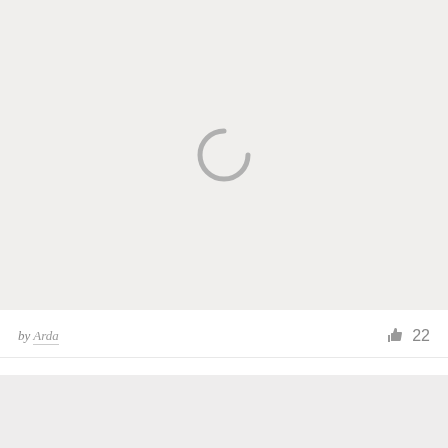[Figure (other): Loading spinner icon (partial circle arc) centered on a light gray background placeholder image area]
by Arda  👍 22
[Figure (other): Second placeholder image area with light gray background, partially visible at bottom]